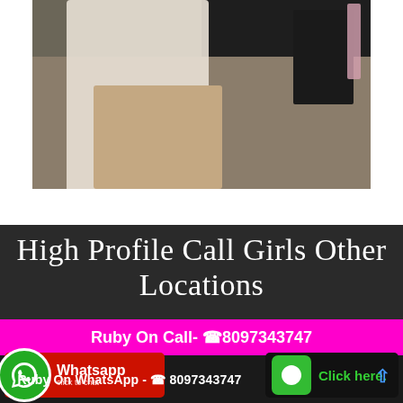[Figure (photo): Woman in white dress seated near a dark table with wine bottle and glass]
High Profile Call Girls Other Locations
Ruby On Call- ☎8097343747
[Figure (other): WhatsApp click to chat button with green WhatsApp logo icon]
[Figure (other): Click here button with green phone icon and blue up arrow]
Ruby On WhatsApp - ☎ 8097343747